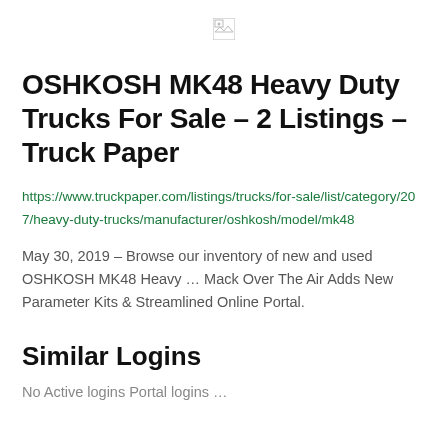[Figure (other): Broken/missing image placeholder icon, small, centered near top of page]
OSHKOSH MK48 Heavy Duty Trucks For Sale – 2 Listings – Truck Paper
https://www.truckpaper.com/listings/trucks/for-sale/list/category/207/heavy-duty-trucks/manufacturer/oshkosh/model/mk48
May 30, 2019 – Browse our inventory of new and used OSHKOSH MK48 Heavy … Mack Over The Air Adds New Parameter Kits & Streamlined Online Portal.
Similar Logins
No Active logins Portal logins …